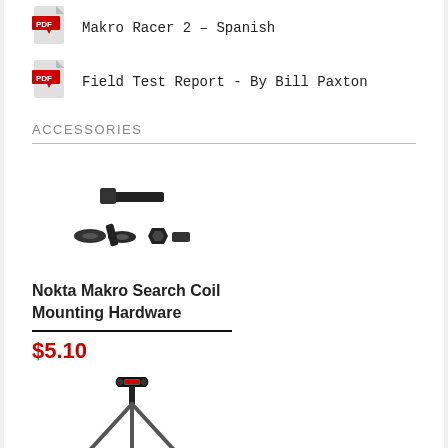Makro Racer 2 - Spanish
Field Test Report - By Bill Paxton
ACCESSORIES
[Figure (photo): Nokta Makro search coil mounting hardware parts including bolt, nuts, and washers on white background]
Nokta Makro Search Coil Mounting Hardware
$5.10
[Figure (photo): Black metal stand/tripod accessory on white background]